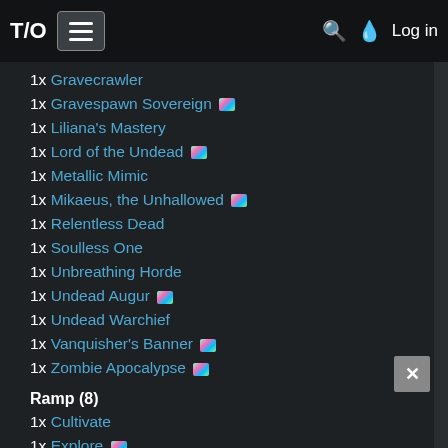T/O  ☰  🔍 💧 Log in
1x Gravecrawler
1x Gravespawn Sovereign
1x Liliana's Mastery
1x Lord of the Undead
1x Metallic Mimic
1x Mikaeus, the Unhallowed
1x Relentless Dead
1x Soulless One
1x Unbreathing Horde
1x Undead Augur
1x Undead Warchief
1x Vanquisher's Banner
1x Zombie Apocalypse
Ramp (8)
1x Cultivate
1x Explore
1x Garruk Wildspeaker
1x Kodama's Reach
1x Rampant Growth
1x Sol Ring